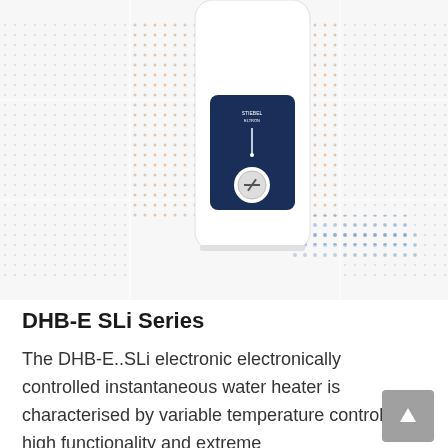[Figure (photo): Product photo of DHB-E SLi Series instantaneous water heater — a tall white cylindrical unit with a dark navy blue control panel featuring a dial/knob, shown against a decorative dot-grid pattern background.]
DHB-E SLi Series
The DHB-E..SLi electronic electronically controlled instantaneous water heater is characterised by variable temperature control, high functionality and extreme